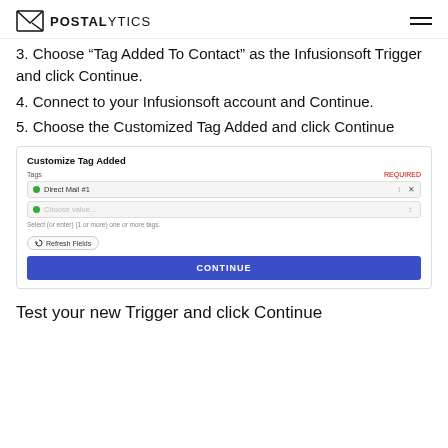POSTALYTICS
3. Choose “Tag Added To Contact” as the Infusionsoft Trigger and click Continue.
4. Connect to your Infusionsoft account and Continue.
5. Choose the Customized Tag Added and click Continue
[Figure (screenshot): Screenshot of Customize Tag Added dialog showing Tags field with Direct Mail #1 selected and a Continue button]
Test your new Trigger and click Continue